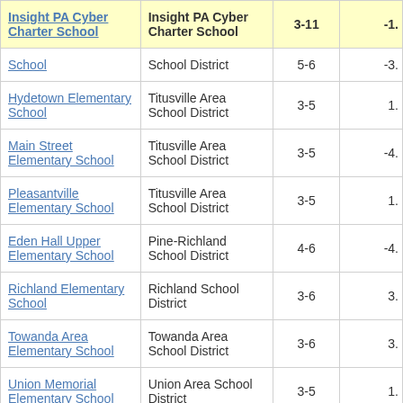| School | District | Grades | Value |
| --- | --- | --- | --- |
| Insight PA Cyber Charter School | Insight PA Cyber Charter School | 3-11 | -1. |
| School | School District | 5-6 | -3. |
| Hydetown Elementary School | Titusville Area School District | 3-5 | 1. |
| Main Street Elementary School | Titusville Area School District | 3-5 | -4. |
| Pleasantville Elementary School | Titusville Area School District | 3-5 | 1. |
| Eden Hall Upper Elementary School | Pine-Richland School District | 4-6 | -4. |
| Richland Elementary School | Richland School District | 3-6 | 3. |
| Towanda Area Elementary School | Towanda Area School District | 3-6 | 3. |
| Union Memorial Elementary School | Union Area School District | 3-5 | 1. |